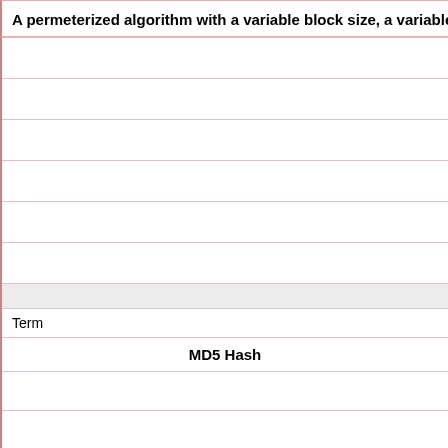A permeterized algorithm with a variable block size, a variable key size, and a variable number of rounds. The key size is 128 bits
| Term | MD5 Hash |
| --- | --- |